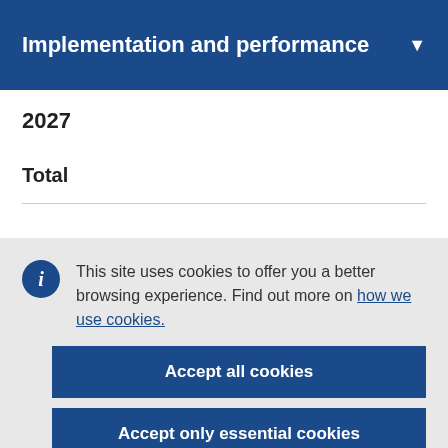Implementation and performance
2027
Total
This site uses cookies to offer you a better browsing experience. Find out more on how we use cookies.
Accept all cookies
Accept only essential cookies